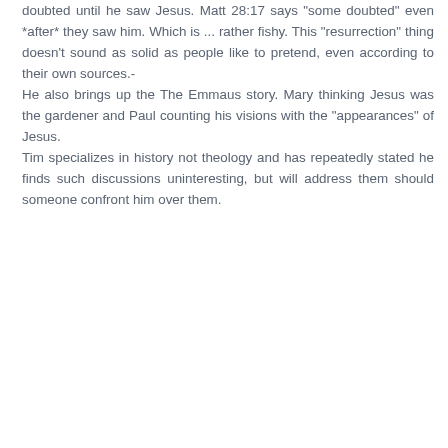doubted until he saw Jesus. Matt 28:17 says "some doubted" even *after* they saw him. Which is ... rather fishy. This "resurrection" thing doesn't sound as solid as people like to pretend, even according to their own sources.-
He also brings up the The Emmaus story. Mary thinking Jesus was the gardener and Paul counting his visions with the "appearances" of Jesus.
Tim specializes in history not theology and has repeatedly stated he finds such discussions uninteresting, but will address them should someone confront him over them.
Mark  September 22, 2021 at 8:53 AM
"Time specializes in history not theology." Which is why Tim's analysis of theological claims like eschatology is uninteresting. Why would anyone think that a superior analysis of a historical theological claim is made by insulating the claim contextually from the historical tradition that